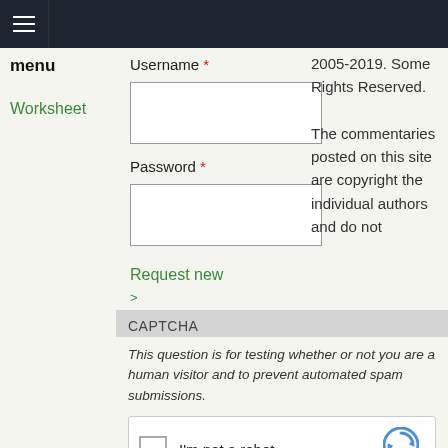menu nav bar with hamburger icon
menu
Worksheet
Username *
Password *
Request new password
2005-2019. Some Rights Reserved. The commentaries posted on this site are copyright the individual authors and do not
CAPTCHA
This question is for testing whether or not you are a human visitor and to prevent automated spam submissions.
[Figure (other): reCAPTCHA widget with checkbox labeled I'm not a robot and reCAPTCHA logo]